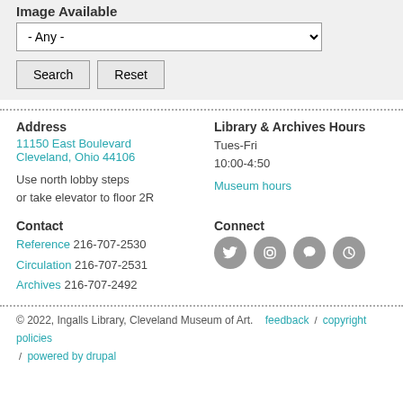Image Available
- Any -
Search   Reset
Address
11150 East Boulevard
Cleveland, Ohio 44106

Use north lobby steps or take elevator to floor 2R
Library & Archives Hours
Tues-Fri
10:00-4:50

Museum hours
Contact
Reference 216-707-2530
Circulation 216-707-2531
Archives 216-707-2492
Connect
© 2022, Ingalls Library, Cleveland Museum of Art.   feedback  /  copyright policies
/  powered by drupal